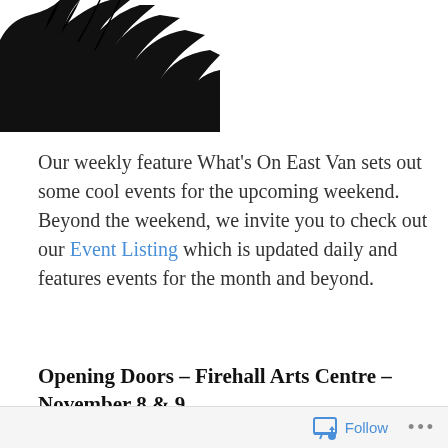[Figure (illustration): Black and white illustration of hair/silhouette against white background, positioned at top left]
Our weekly feature What's On East Van sets out some cool events for the upcoming weekend.  Beyond the weekend, we invite you to check out our Event Listing which is updated daily and features events for the month and beyond.
Opening Doors – Firehall Arts Centre – November 8 & 9
Opening Doors is now on at the Firehall Arts Centre until Saturday.  This production features stories about Vancouver's East End. Women from many different cultural heritages and backgrounds help build the vibrant
Follow ...